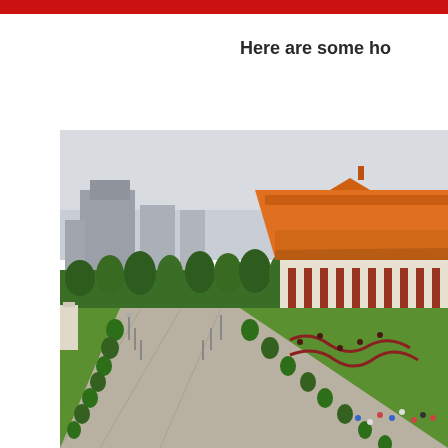Here are some ho
[Figure (photo): Aerial view of Chiang Kai-shek Memorial Hall complex in Taipei, Taiwan, showing the ornate orange-roofed traditional Chinese-style building surrounded by manicured gardens with topiary hedges and floral patterns, with modern city buildings in the background and visitors walking on the plaza.]